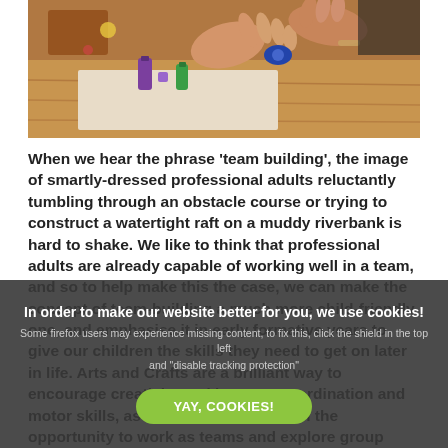[Figure (photo): Close-up photo of hands doing a craft activity, with small paint bottles and crafting materials on a table]
When we hear the phrase 'team building', the image of smartly-dressed professional adults reluctantly tumbling through an obstacle course or trying to construct a watertight raft on a muddy riverbank is hard to shake. We like to think that professional adults are already capable of working well in a team, and so to help make this the case, we can make the concept of team-building a much more child-friendly one, and emphasise it in early formative years to give our children the skills they need to get on later in life. Arts and Crafts are a brilliant way to encourage creativity and improve coordination and motor skills, as well as giving children the opportunity to work as teams and explore group dynamics.
In order to make our website better for you, we use cookies! Some firefox users may experience missing content, to fix this, click the shield in the top left and "disable tracking protection" YAY, COOKIES!